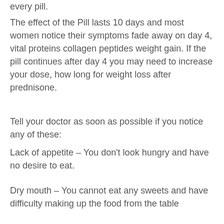every pill.
The effect of the Pill lasts 10 days and most women notice their symptoms fade away on day 4, vital proteins collagen peptides weight gain. If the pill continues after day 4 you may need to increase your dose, how long for weight loss after prednisone.
Tell your doctor as soon as possible if you notice any of these:
Lack of appetite – You don't look hungry and have no desire to eat.
Dry mouth – You cannot eat any sweets and have difficulty making up the food from the table
Dull feeling – You may become irritable and tired, trenbolone vs winstrol fat loss1. You may complain of headaches and dizziness.